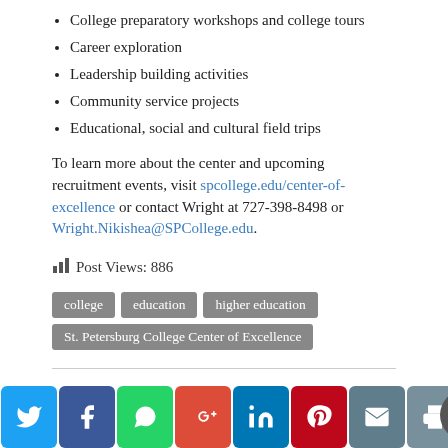College preparatory workshops and college tours
Career exploration
Leadership building activities
Community service projects
Educational, social and cultural field trips
To learn more about the center and upcoming recruitment events, visit spcollege.edu/center-of-excellence or contact Wright at 727-398-8498 or Wright.Nikishea@SPCollege.edu.
Post Views: 886
college   education   higher education   St. Petersburg College Center of Excellence